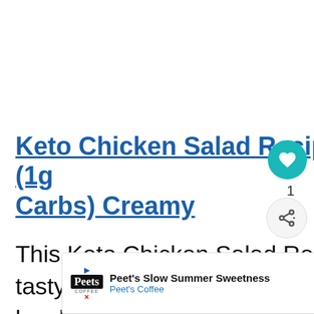Keto Chicken Salad Recipe (1g Carbs) Creamy
This Keto Chicken Salad Recipe is a tasty super easy-to-make low- lunch or snack loaded with healthy fats to
[Figure (screenshot): WHAT'S NEXT panel showing Keto Granola Bars (2g Net...) with thumbnail image]
[Figure (screenshot): Peet's Coffee advertisement banner: Peet's Slow Summer Sweetness, Peet's Coffee]